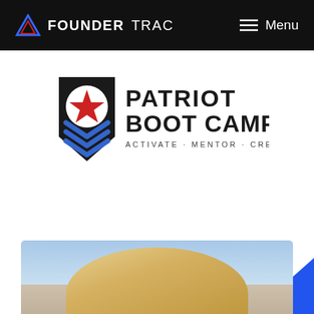FOUNDERTRAC Menu
[Figure (logo): Patriot Boot Camp logo with shield shape, blue chevrons, red star, and text 'PATRIOT BOOT CAMP - ACTIVATE · MENTOR · CREATE']
[Figure (photo): Bottom portion of a person with blonde hair, partial face visible at bottom of page]